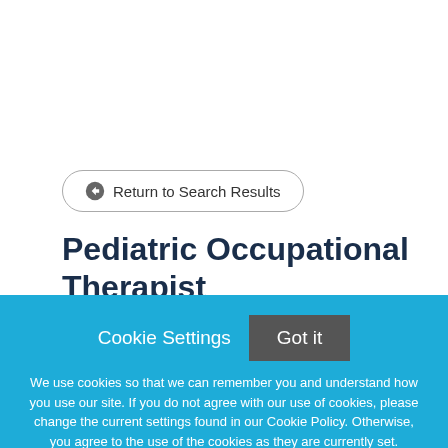Return to Search Results
Pediatric Occupational Therapist
OverviewSt. Luke's Health System is seeking an Occupational Therapist to join our Outpatient Pediatric
Cookie Settings
Got it
We use cookies so that we can remember you and understand how you use our site. If you do not agree with our use of cookies, please change the current settings found in our Cookie Policy. Otherwise, you agree to the use of the cookies as they are currently set.